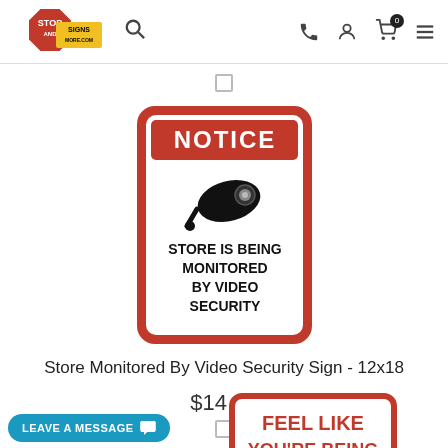[Figure (screenshot): E-commerce website header with Stop Signs and More logo, search icon, phone icon, account icon, cart icon (0 items), and menu icon]
[Figure (photo): Notice sign - white rectangular sign with red border reading NOTICE at top in red rectangle, camera icon in center, text: STORE IS BEING MONITORED BY VIDEO SECURITY]
Store Monitored By Video Security Sign - 12x18
$14.95
[Figure (photo): Second sign partially visible at bottom - FEEL LIKE YOU'RE BEING text visible]